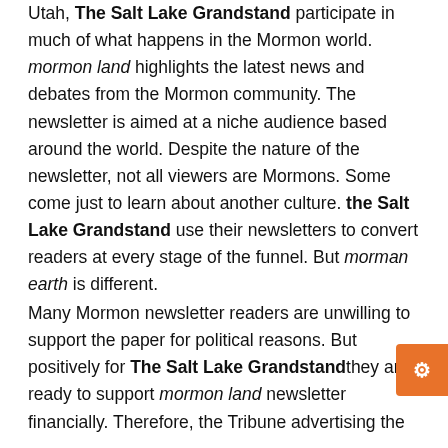Utah, The Salt Lake Grandstand participate in much of what happens in the Mormon world. mormon land highlights the latest news and debates from the Mormon community. The newsletter is aimed at a niche audience based around the world. Despite the nature of the newsletter, not all viewers are Mormons. Some come just to learn about another culture. the Salt Lake Grandstand use their newsletters to convert readers at every stage of the funnel. But morman earth is different.

Many Mormon newsletter readers are unwilling to support the paper for political reasons. But positively for The Salt Lake Grandstand they are ready to support mormon land newsletter financially. Therefore, the Tribune advertising the